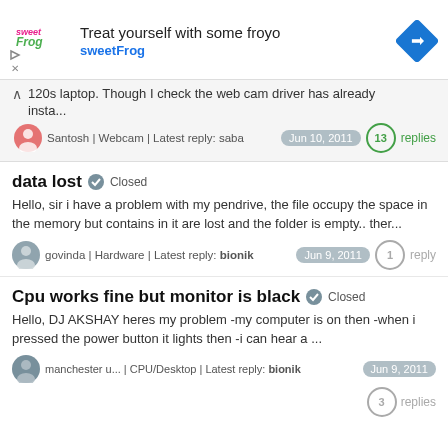[Figure (screenshot): sweetFrog ad banner: logo, 'Treat yourself with some froyo', 'sweetFrog' brand name, navigation icon]
120s laptop. Though I check the web cam driver has already insta...
Santosh | Webcam | Latest reply: saba  Jun 10, 2011   13 replies
data lost  Closed
Hello, sir i have a problem with my pendrive, the file occupy the space in the memory but contains in it are lost and the folder is empty.. ther...
govinda | Hardware | Latest reply: bionik  Jun 9, 2011   1 reply
Cpu works fine but monitor is black  Closed
Hello, DJ AKSHAY heres my problem -my computer is on then -when i pressed the power button it lights then -i can hear a ...
manchester u... | CPU/Desktop | Latest reply: bionik  Jun 9, 2011   3 replies